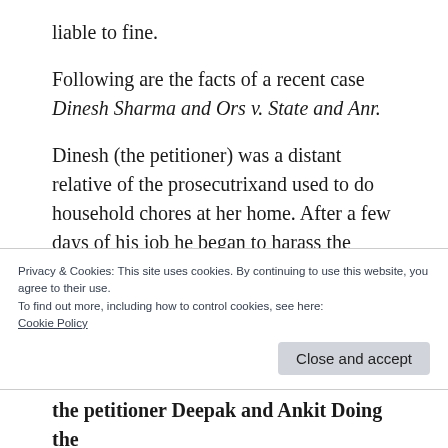liable to fine.
Following are the facts of a recent case Dinesh Sharma and Ors v. State and Anr.
Dinesh (the petitioner) was a distant relative of the prosecutrixand used to do household chores at her home. After a few days of his job he began to harass the prosecutrix. The prosecutrix informed her parents about the unacceptable incident who in turn had warned
Privacy & Cookies: This site uses cookies. By continuing to use this website, you agree to their use.
To find out more, including how to control cookies, see here:
Cookie Policy
the petitioner Deepak and Ankit Doing the